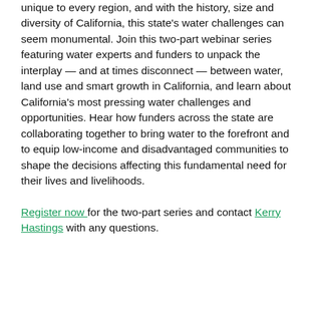unique to every region, and with the history, size and diversity of California, this state's water challenges can seem monumental. Join this two-part webinar series featuring water experts and funders to unpack the interplay — and at times disconnect — between water, land use and smart growth in California, and learn about California's most pressing water challenges and opportunities. Hear how funders across the state are collaborating together to bring water to the forefront and to equip low-income and disadvantaged communities to shape the decisions affecting this fundamental need for their lives and livelihoods.
Register now for the two-part series and contact Kerry Hastings with any questions.